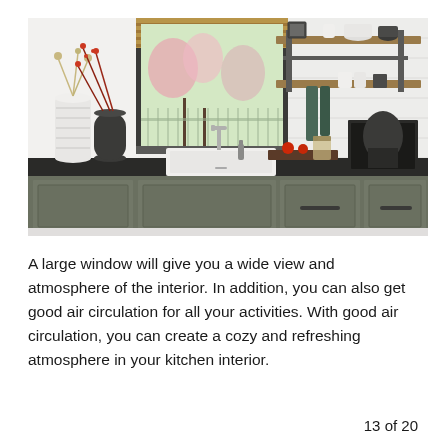[Figure (photo): A modern kitchen interior featuring a large window above a white farmhouse sink, black countertops, olive-green/grey lower cabinets, a woven roman shade, industrial pipe shelving on the right with decorative items, vases with dried flowers on the left, and a black-and-white framed photo.]
A large window will give you a wide view and atmosphere of the interior. In addition, you can also get good air circulation for all your activities. With good air circulation, you can create a cozy and refreshing atmosphere in your kitchen interior.
13 of 20